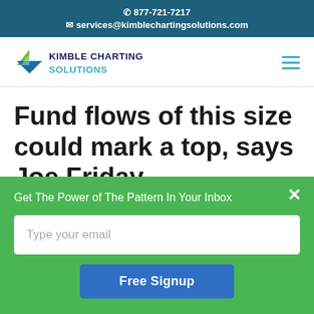☎ 877-721-7217
✉ services@kimblechartingsolutions.com
[Figure (logo): Kimble Charting Solutions logo with blue arrow pointing left and teal/navy text]
Fund flows of this size could mark a top, says Joe Friday
Get The Power of The Pattern In Your Inbox
Type your email
Free Signup